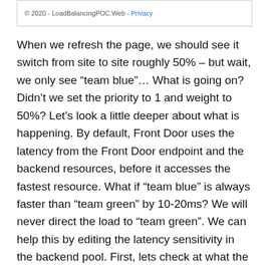© 2020 - LoadBalancingPOC.Web - Privacy
When we refresh the page, we should see it switch from site to site roughly 50% – but wait, we only see “team blue”... What is going on? Didn’t we set the priority to 1 and weight to 50%? Let’s look a little deeper about what is happening. By default, Front Door uses the latency from the Front Door endpoint and the backend resources, before it accesses the fastest resource. What if “team blue” is always faster than “team green” by 10-20ms? We will never direct the load to “team green”. We can help this by editing the latency sensitivity in the backend pool. First, lets check at what the latency is between the web apps and Azure Front Door. We can test this by logging into the KUDU console of each of our web apps and running the